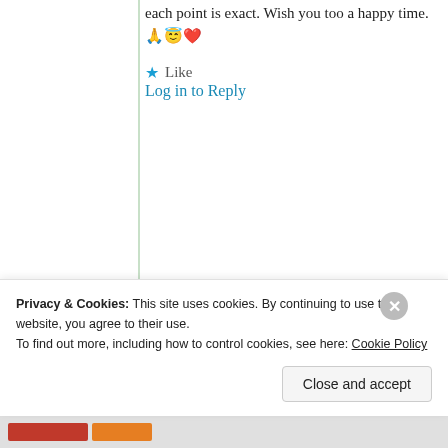each point is exact. Wish you too a happy time. 🙏😇❤️
★ Like
Log in to Reply
Arun Singha
2nd Jun 2021 at 2:14 pm
Privacy & Cookies: This site uses cookies. By continuing to use this website, you agree to their use. To find out more, including how to control cookies, see here: Cookie Policy
Close and accept